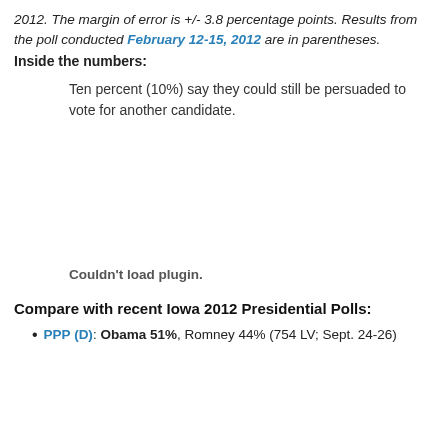2012. The margin of error is +/- 3.8 percentage points. Results from the poll conducted February 12-15, 2012 are in parentheses.
Inside the numbers:
Ten percent (10%) say they could still be persuaded to vote for another candidate.
[Figure (other): Couldn't load plugin. — placeholder for an embedded plugin/chart that failed to load.]
Compare with recent Iowa 2012 Presidential Polls:
PPP (D): Obama 51%, Romney 44% (754 LV; Sept. 24-26)